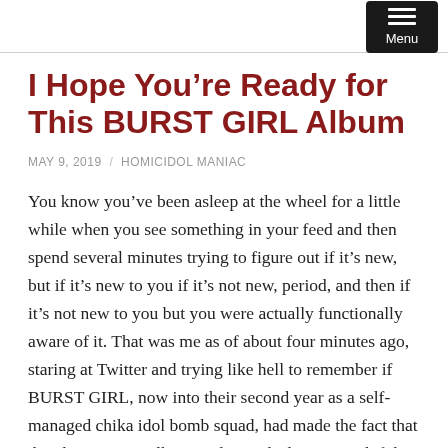I Hope You're Ready for This BURST GIRL Album
MAY 9, 2019 / HOMICIDOL MANIAC
You know you've been asleep at the wheel for a little while when you see something in your feed and then spend several minutes trying to figure out if it's new, but if it's new to you if it's not new, period, and then if it's not new to you but you were actually functionally aware of it. That was me as of about four minutes ago, staring at Twitter and trying like hell to remember if BURST GIRL, now into their second year as a self-managed chika idol bomb squad, had made the fact that they have a June album in the works known, and if the meme-producing